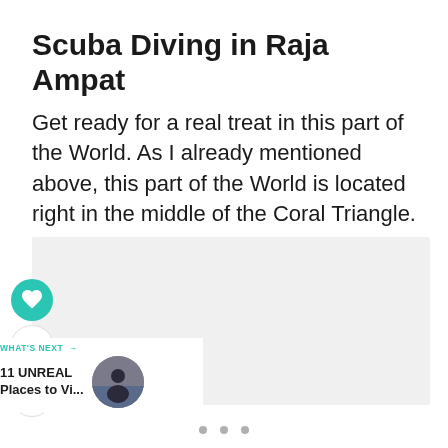Scuba Diving in Raja Ampat
Get ready for a real treat in this part of the World. As I already mentioned above, this part of the World is located right in the middle of the Coral Triangle.
[Figure (other): Light gray placeholder image area with social media buttons (heart/like button with teal background showing 559 likes, and a share button) on the left side. Below is a 'What's Next' card showing '11 UNREAL Places to Vi...' with a circular thumbnail of a person silhouette. Three gray dots at the bottom suggest a carousel/slideshow indicator.]